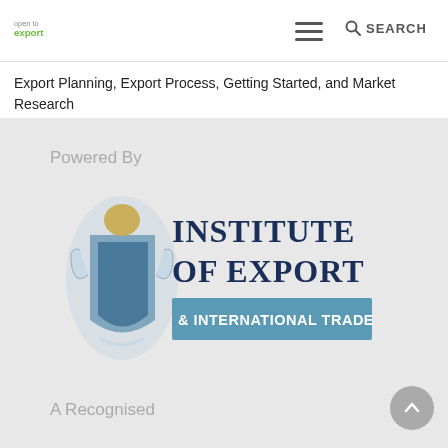open to export (logo) | hamburger menu | SEARCH
Export Planning, Export Process, Getting Started, and Market Research
Powered By
[Figure (logo): Institute of Export & International Trade logo with crest/coat of arms on the left and text 'INSTITUTE OF EXPORT & INTERNATIONAL TRADE' on the right, the last line on a blue background banner]
A Recognised